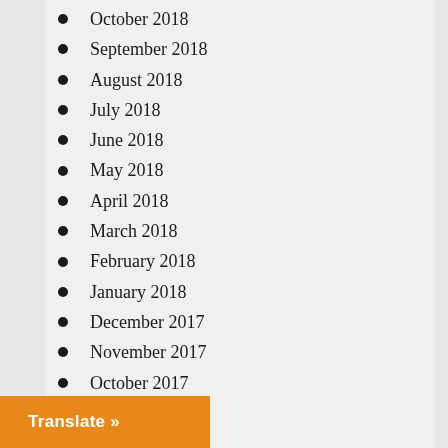October 2018
September 2018
August 2018
July 2018
June 2018
May 2018
April 2018
March 2018
February 2018
January 2018
December 2017
November 2017
October 2017
September 2017
August 2017
July 2017
June 2017
May 2017
Translate »